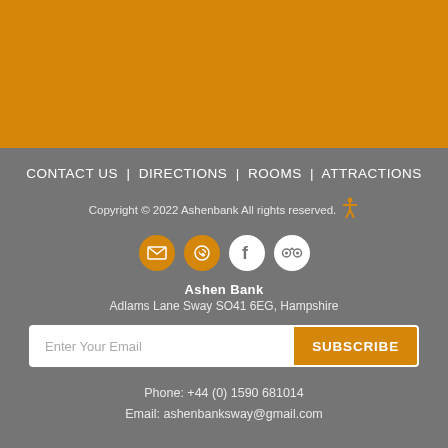[Figure (other): Orange/amber colored header banner area]
CONTACT US | DIRECTIONS | ROOMS | ATTRACTIONS
Copyright © 2022 Ashenbank All rights reserved.
[Figure (other): Social media icons: email, phone, Facebook, TripAdvisor]
Ashen Bank
Adlams Lane Sway SO41 6EG, Hampshire
Enter Your Email  SUBSCRIBE
Phone: +44 (0) 1590 681014
Email: ashenbanksway@gmail.com